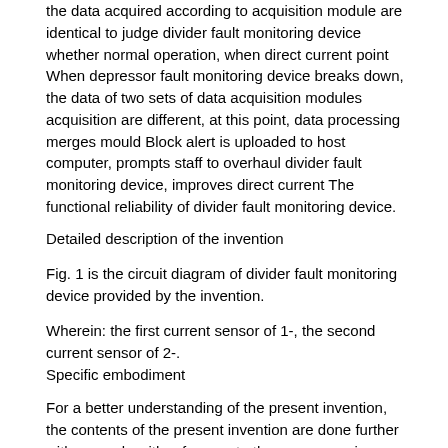the data acquired according to acquisition module are identical to judge divider fault monitoring device whether normal operation, when direct current point When depressor fault monitoring device breaks down, the data of two sets of data acquisition modules acquisition are different, at this point, data processing merges mould Block alert is uploaded to host computer, prompts staff to overhaul divider fault monitoring device, improves direct current The functional reliability of divider fault monitoring device.
Detailed description of the invention
Fig. 1 is the circuit diagram of divider fault monitoring device provided by the invention.
Wherein: the first current sensor of 1-, the second current sensor of 2-.
Specific embodiment
For a better understanding of the present invention, the contents of the present invention are done further with example with reference to the accompanying drawings of the specification Explanation.